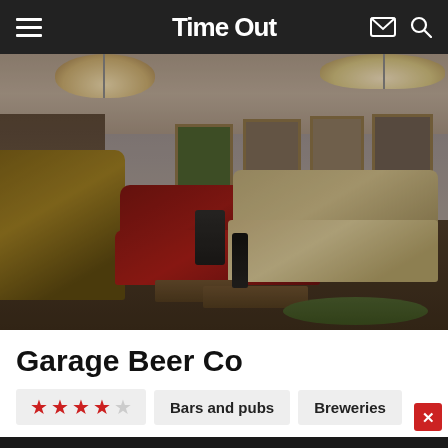Time Out
[Figure (photo): Interior of Garage Beer Co bar showing leather sofas, artwork on walls, pendant lamps, wooden coffee tables, and dark atmospheric lighting]
Garage Beer Co
★★★★☆ | Bars and pubs | Breweries